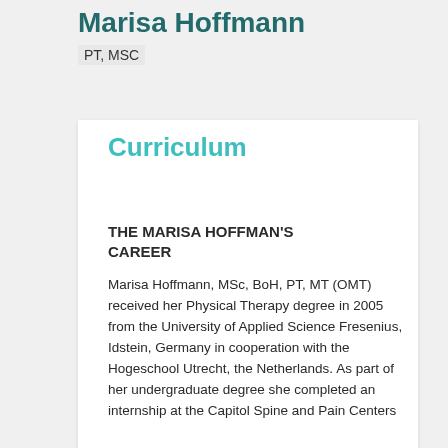Marisa Hoffmann
PT, MSC
Curriculum
THE MARISA HOFFMAN'S CAREER
Marisa Hoffmann, MSc, BoH, PT, MT (OMT) received her Physical Therapy degree in 2005 from the University of Applied Science Fresenius, Idstein, Germany in cooperation with the Hogeschool Utrecht, the Netherlands. As part of her undergraduate degree she completed an internship at the Capitol Spine and Pain Centers